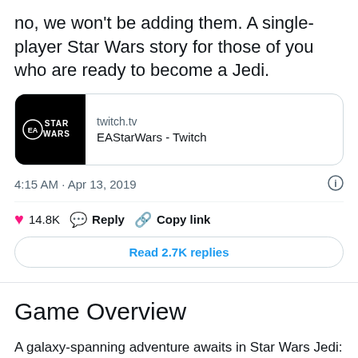no, we won't be adding them. A single-player Star Wars story for those of you who are ready to become a Jedi.
[Figure (screenshot): Link card showing EA Star Wars Twitch channel with black thumbnail featuring EA and Star Wars logos, domain twitch.tv, title EAStarWars - Twitch]
4:15 AM · Apr 13, 2019
♥ 14.8K   Reply   Copy link
Read 2.7K replies
Game Overview
A galaxy-spanning adventure awaits in Star Wars Jedi: Fallen